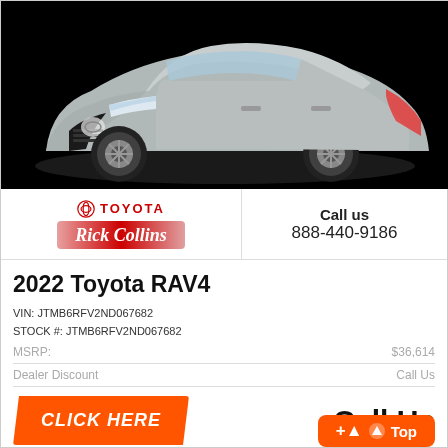[Figure (photo): Silver Toyota RAV4 SUV on black background, front three-quarter view]
[Figure (logo): Toyota Rick Collins dealership logo: Toyota red circle logo with TOYOTA text in red, and Rick Collins in white italic script on red badge]
Call us
888-440-9186
2022 Toyota RAV4
VIN: JTMB6RFV2ND067682
STOCK #: JTMB6RFV2ND067682
| MSRP: | $36,614 |
| Dealer Discount | Call Us |
CLICK HERE
Call Us
Top